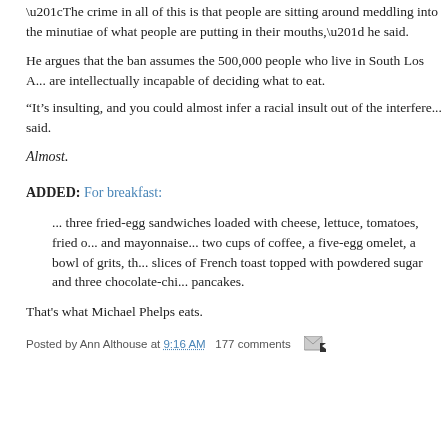“The crime in all of this is that people are sitting around meddling into the minutiae of what people are putting in their mouths,” he said.
He argues that the ban assumes the 500,000 people who live in South Los A... are intellectually incapable of deciding what to eat.
“It’s insulting, and you could almost infer a racial insult out of the interfere... said.
Almost.
ADDED: For breakfast:
... three fried-egg sandwiches loaded with cheese, lettuce, tomatoes, fried o... and mayonnaise... two cups of coffee, a five-egg omelet, a bowl of grits, th... slices of French toast topped with powdered sugar and three chocolate-chi... pancakes.
That’s what Michael Phelps eats.
Posted by Ann Althouse at 9:16 AM  177 comments